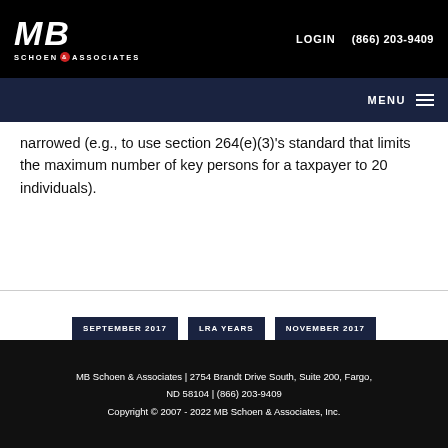MB SCHOEN & ASSOCIATES | LOGIN | (866) 203-9409
narrowed (e.g., to use section 264(e)(3)'s standard that limits the maximum number of key persons for a taxpayer to 20 individuals).
SEPTEMBER 2017
LRA YEARS
NOVEMBER 2017
MB Schoen & Associates | 2754 Brandt Drive South, Suite 200, Fargo, ND 58104 | (866) 203-9409
Copyright © 2007 - 2022 MB Schoen & Associates, Inc.